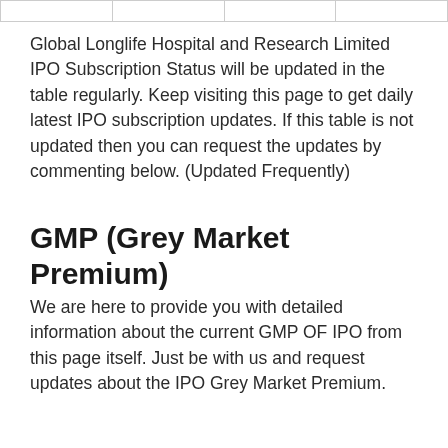|  |
Global Longlife Hospital and Research Limited IPO Subscription Status will be updated in the table regularly. Keep visiting this page to get daily latest IPO subscription updates. If this table is not updated then you can request the updates by commenting below. (Updated Frequently)
GMP (Grey Market Premium)
We are here to provide you with detailed information about the current GMP OF IPO from this page itself. Just be with us and request updates about the IPO Grey Market Premium.